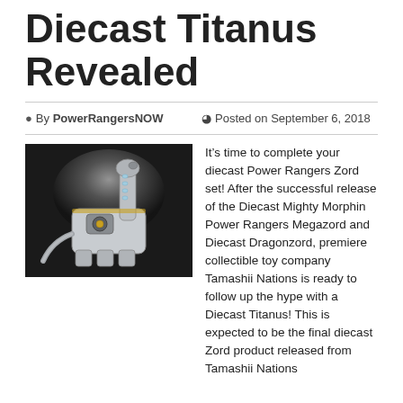Diecast Titanus Revealed
By PowerRangersNOW   Posted on September 6, 2018
[Figure (photo): Photo of a large diecast Titanus Zord collectible toy, white and silver with a long neck, posed against a dark background with a spotlight effect.]
It’s time to complete your diecast Power Rangers Zord set! After the successful release of the Diecast Mighty Morphin Power Rangers Megazord and Diecast Dragonzord, premiere collectible toy company Tamashii Nations is ready to follow up the hype with a Diecast Titanus! This is expected to be the final diecast Zord product released from Tamashii Nations